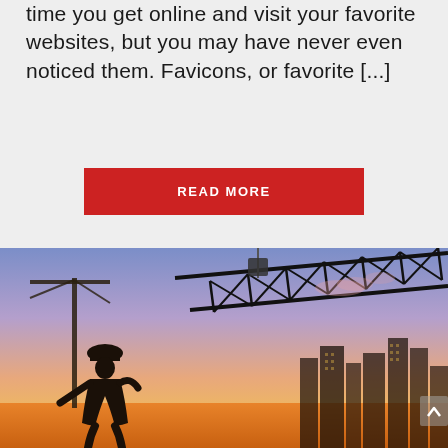time you get online and visit your favorite websites, but you may have never even noticed them. Favicons, or favorite [...]
READ MORE
[Figure (photo): Construction worker in hard hat silhouetted against a sunset/dusk sky, with a large steel truss beam being lifted by a crane. Background shows a city skyline and cranes against a purple-to-orange gradient sky.]